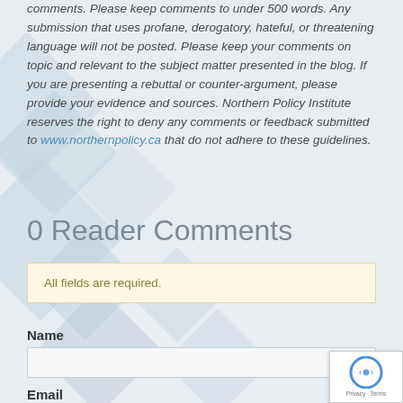comments. Please keep comments to under 500 words. Any submission that uses profane, derogatory, hateful, or threatening language will not be posted. Please keep your comments on topic and relevant to the subject matter presented in the blog. If you are presenting a rebuttal or counter-argument, please provide your evidence and sources. Northern Policy Institute reserves the right to deny any comments or feedback submitted to www.northernpolicy.ca that do not adhere to these guidelines.
0 Reader Comments
All fields are required.
Name
Email